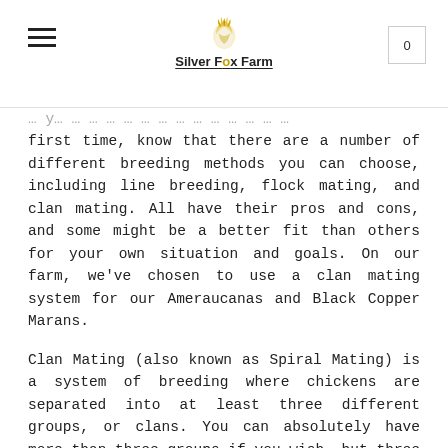Silver Fox Farm
first time, know that there are a number of different breeding methods you can choose, including line breeding, flock mating, and clan mating. All have their pros and cons, and some might be a better fit than others for your own situation and goals. On our farm, we've chosen to use a clan mating system for our Ameraucanas and Black Copper Marans.
Clan Mating (also known as Spiral Mating) is a system of breeding where chickens are separated into at least three different groups, or clans. You can absolutely have more than three groups if you wish, but three is the minimum. In the initial year of a clan mating program, chickens mate within their group, and in all subsequent years, males are rotated to the next clan over. (I was unable to discover where this breeding